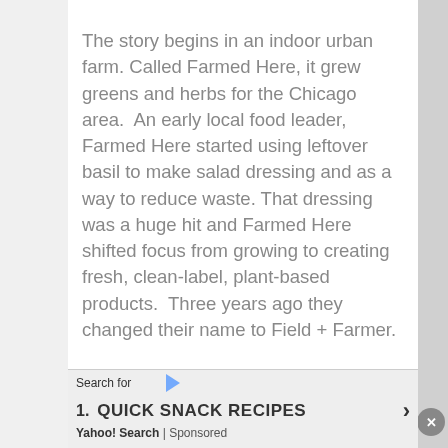The story begins in an indoor urban farm. Called Farmed Here, it grew greens and herbs for the Chicago area. An early local food leader, Farmed Here started using leftover basil to make salad dressing and as a way to reduce waste. That dressing was a huge hit and Farmed Here shifted focus from growing to creating fresh, clean-label, plant-based products. Three years ago they changed their name to Field + Farmer.
[Figure (photo): Overhead photo of a pizza with white drizzle/sauce and a small white bowl of dipping sauce on a wooden board]
Search for
1. QUICK SNACK RECIPES
Yahoo! Search | Sponsored